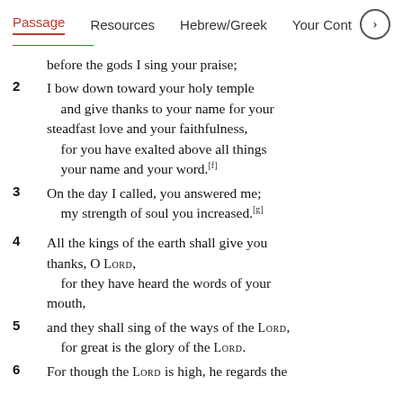Passage | Resources | Hebrew/Greek | Your Cont >
before the gods I sing your praise;
2 I bow down toward your holy temple
    and give thanks to your name for your
    steadfast love and your faithfulness,
    for you have exalted above all things
    your name and your word.[f]
3 On the day I called, you answered me;
    my strength of soul you increased.[g]

4 All the kings of the earth shall give you thanks, O LORD,
    for they have heard the words of your mouth,
5 and they shall sing of the ways of the LORD,
    for great is the glory of the LORD.
6 For though the LORD is high, he regards the